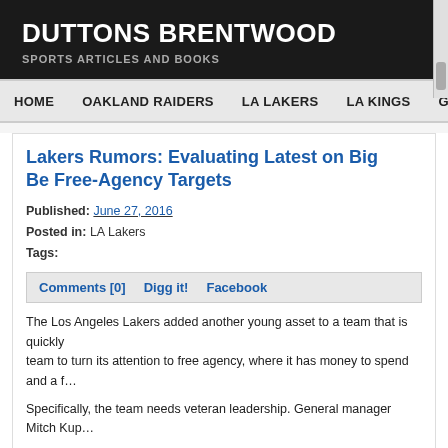DUTTONS BRENTWOOD
SPORTS ARTICLES AND BOOKS
HOME   OAKLAND RAIDERS   LA LAKERS   LA KINGS   GENERA…
Lakers Rumors: Evaluating Latest on Big… Be Free-Agency Targets
Published: June 27, 2016
Posted in: LA Lakers
Tags:
Comments [0]   Digg it!   Facebook
The Los Angeles Lakers added another young asset to a team that is quickly… team to turn its attention to free agency, where it has money to spend and a f…
Specifically, the team needs veteran leadership. General manager Mitch Kup…
Talking to the media after the team acquired Brandon Ingram and Ivica Zuba… to how important it would be for the team to surround the young talent with ol… help them win games now, per Joey Ramirez of Lakers.com:
I think history tells you that a bunch of young guys on a team is probably not… leadership and advice from somebody who's been through this a couple of ti… they really don't know how to handle the situation. So I think we will look to…